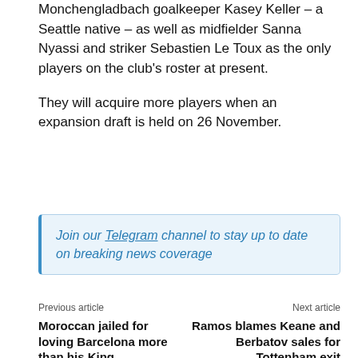Monchengladbach goalkeeper Kasey Keller – a Seattle native – as well as midfielder Sanna Nyassi and striker Sebastien Le Toux as the only players on the club's roster at present.
They will acquire more players when an expansion draft is held on 26 November.
Join our Telegram channel to stay up to date on breaking news coverage
Previous article
Moroccan jailed for loving Barcelona more than his King
Next article
Ramos blames Keane and Berbatov sales for Tottenham exit